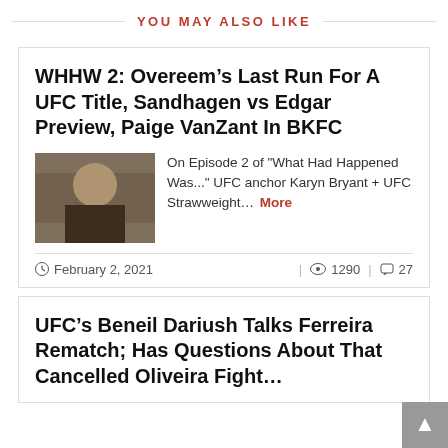YOU MAY ALSO LIKE
WHHW 2: Overeem’s Last Run For A UFC Title, Sandhagen vs Edgar Preview, Paige VanZant In BKFC
[Figure (photo): Thumbnail image of a woman]
On Episode 2 of "What Had Happened Was..." UFC anchor Karyn Bryant + UFC Strawweight... More
February 2, 2021   1290   27
UFC’s Beneil Dariush Talks Ferreira Rematch; Has Questions About That Cancelled Oliveira Fight...